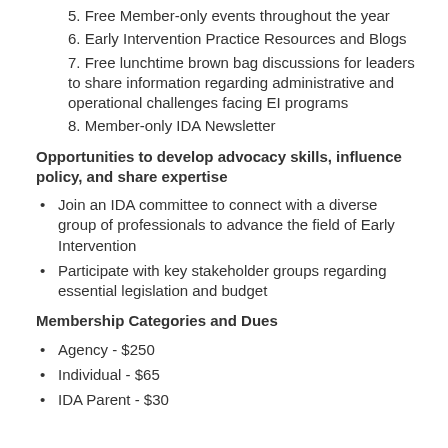5. Free Member-only events throughout the year
6. Early Intervention Practice Resources and Blogs
7. Free lunchtime brown bag discussions for leaders to share information regarding administrative and operational challenges facing EI programs
8. Member-only IDA Newsletter
Opportunities to develop advocacy skills, influence policy, and share expertise
Join an IDA committee to connect with a diverse group of professionals to advance the field of Early Intervention
Participate with key stakeholder groups regarding essential legislation and budget
Membership Categories and Dues
Agency - $250
Individual - $65
IDA Parent - $30